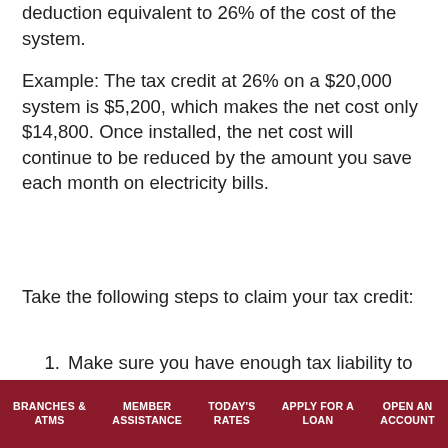deduction equivalent to 26% of the cost of the system.
Example: The tax credit at 26% on a $20,000 system is $5,200, which makes the net cost only $14,800. Once installed, the net cost will continue to be reduced by the amount you save each month on electricity bills.
Take the following steps to claim your tax credit:
Make sure you have enough tax liability to claim against your taxes, referencing Section 48 of the Internal Revenue Code, the ITC can be carried back one year and forward 20 years. So, if you had a tax liability last year and not this year, you can still claim your credit under this rule.
BRANCHES & ATMS | MEMBER ASSISTANCE | TODAY'S RATES | APPLY FOR A LOAN | OPEN AN ACCOUNT